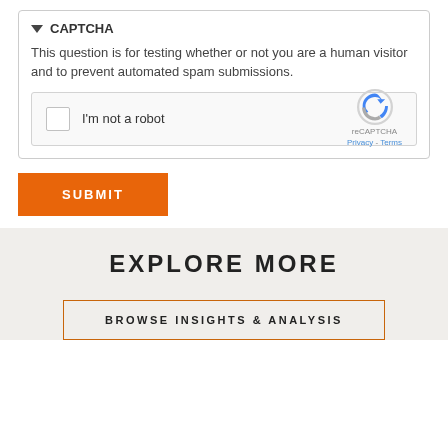▼ CAPTCHA
This question is for testing whether or not you are a human visitor and to prevent automated spam submissions.
[Figure (screenshot): reCAPTCHA widget with checkbox labeled 'I'm not a robot' and reCAPTCHA logo on the right]
SUBMIT
EXPLORE MORE
BROWSE INSIGHTS & ANALYSIS